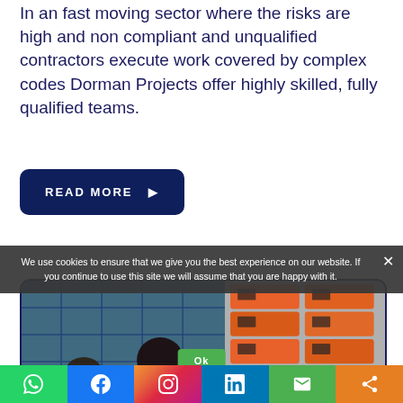In an fast moving sector where the risks are high and non compliant and unqualified contractors execute work covered by complex codes Dorman Projects offer highly skilled, fully qualified teams.
Read More ▶
[Figure (photo): Two workers in green vests working on solar panels (left), and a row of orange/red battery units on a wall (right), inside a card with dark blue border and rounded corners.]
We use cookies to ensure that we give you the best experience on our website. If you continue to use this site we will assume that you are happy with it.
[Figure (infographic): Social media share bar at the bottom with WhatsApp (green), Facebook (blue), Instagram (gradient), LinkedIn (blue), Email (green), Share (orange) icons.]